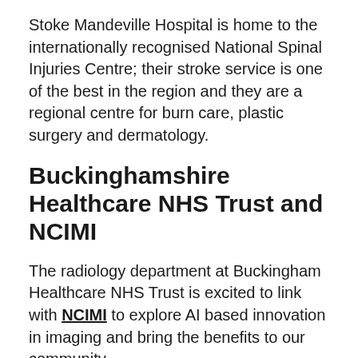Stoke Mandeville Hospital is home to the internationally recognised National Spinal Injuries Centre; their stroke service is one of the best in the region and they are a regional centre for burn care, plastic surgery and dermatology.
Buckinghamshire Healthcare NHS Trust and NCIMI
The radiology department at Buckingham Healthcare NHS Trust is excited to link with NCIMI to explore AI based innovation in imaging and bring the benefits to our community.